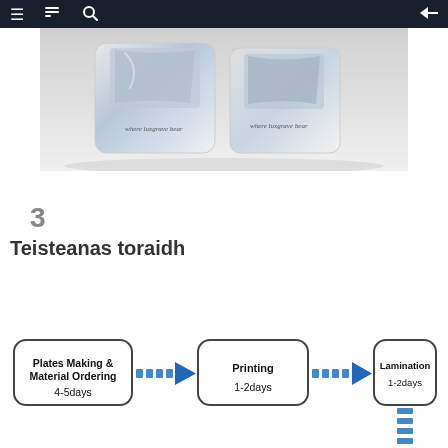navigation header with menu, search, and back arrow icons
[Figure (photo): Two silver/white flexible pouches with rounded corners and script text labels, photographed on a white surface with soft shadows]
3
Teisteanas toraidh
[Figure (flowchart): Process flowchart showing three steps connected by blue dashed arrows: 'Plates Making & Material Ordering 4-5days' -> 'Printing 1-2days' -> 'Lamination 1-2days', with additional dashed lines below indicating more steps]